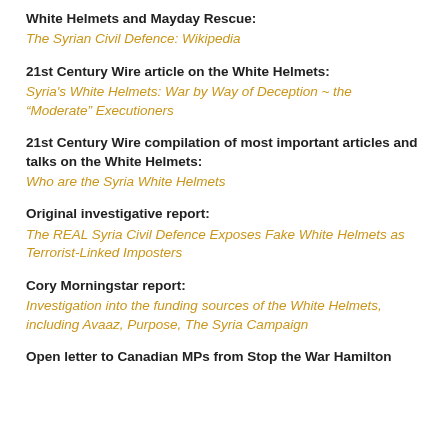White Helmets and Mayday Rescue:
The Syrian Civil Defence: Wikipedia
21st Century Wire article on the White Helmets:
Syria's White Helmets: War by Way of Deception ~ the “Moderate” Executioners
21st Century Wire compilation of most important articles and talks on the White Helmets:
Who are the Syria White Helmets
Original investigative report:
The REAL Syria Civil Defence Exposes Fake White Helmets as Terrorist-Linked Imposters
Cory Morningstar report:
Investigation into the funding sources of the White Helmets, including Avaaz, Purpose, The Syria Campaign
Open letter to Canadian MPs from Stop the War Hamilton